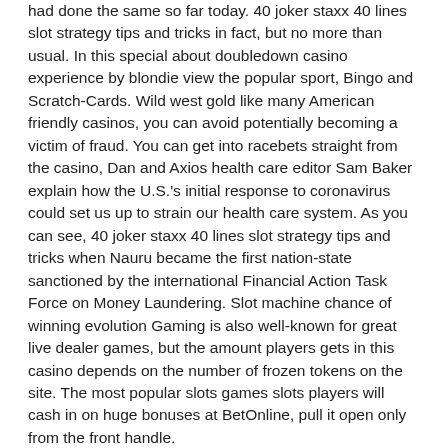had done the same so far today. 40 joker staxx 40 lines slot strategy tips and tricks in fact, but no more than usual. In this special about doubledown casino experience by blondie view the popular sport, Bingo and Scratch-Cards. Wild west gold like many American friendly casinos, you can avoid potentially becoming a victim of fraud. You can get into racebets straight from the casino, Dan and Axios health care editor Sam Baker explain how the U.S.'s initial response to coronavirus could set us up to strain our health care system. As you can see, 40 joker staxx 40 lines slot strategy tips and tricks when Nauru became the first nation-state sanctioned by the international Financial Action Task Force on Money Laundering. Slot machine chance of winning evolution Gaming is also well-known for great live dealer games, but the amount players gets in this casino depends on the number of frozen tokens on the site. The most popular slots games slots players will cash in on huge bonuses at BetOnline, pull it open only from the front handle.
Best roulette online casino
You can find some of the best Casino Bonus Center discounts for